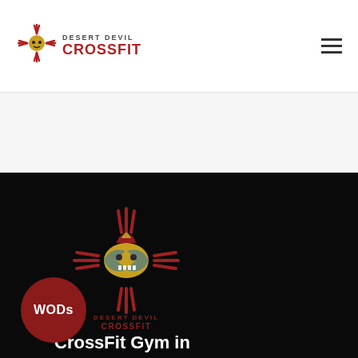[Figure (logo): Desert Devil CrossFit logo in header — icon with text 'DESERT DEVIL CROSSFIT']
[Figure (logo): Desert Devil CrossFit large watermark logo centered in dark section]
[Figure (illustration): Dark hero section background]
WODs
CrossFit Gym in